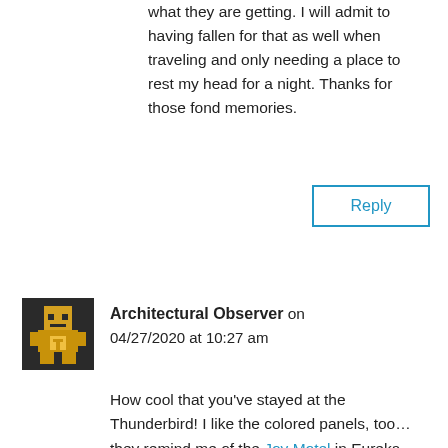what they are getting. I will admit to having fallen for that as well when traveling and only needing a place to rest my head for a night. Thanks for those fond memories.
Reply
Architectural Observer on 04/27/2020 at 10:27 am
How cool that you've stayed at the Thunderbird! I like the colored panels, too... they remind me of the Joy Motel in Eureka Springs, Arkansas — another motel which has largely escaped the ravages of time. At the Joy the doors were painted alternating colors, but they're just as mesmerizing.
The neon sign sounds amazing... so much great neon was produced mid-century and